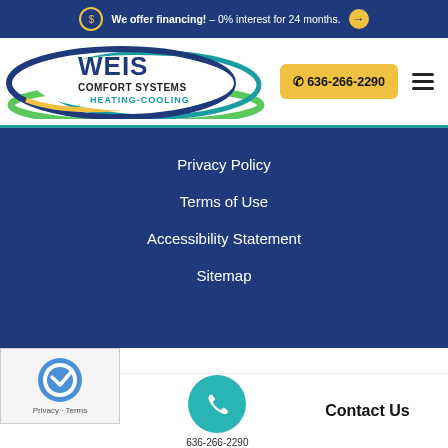We offer financing! – 0% interest for 24 months.
[Figure (logo): Weis Comfort Systems Heating-Cooling logo with blue and green ellipses]
636-266-2290
Privacy Policy
Terms of Use
Accessibility Statement
Sitemap
[Figure (logo): reCAPTCHA logo with Privacy - Terms text]
ll Rights Reserved Weis Comfort Systems. Site designed by EMSC
About Us
636-266-2290
Contact Us